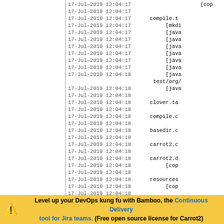[Figure (screenshot): Build log output from a Bamboo CI system showing timestamped log entries dated 17-Jul-2019 12:04:17 to 12:04:18, with tasks including compile.t, [mkdi, [java, test/org/, clover.ta, compile.c, basedir.c, carrot2.c, carrot2.d, [cop, resources, test:, [mkdi, [junit entries, partially clipped on the right side. Left side shows a vertical panel separator.]
Level up your DevOps kung fu with Bamboo, the Continuous Delivery tool for Jira teams. (Free open source license for Carrot2)